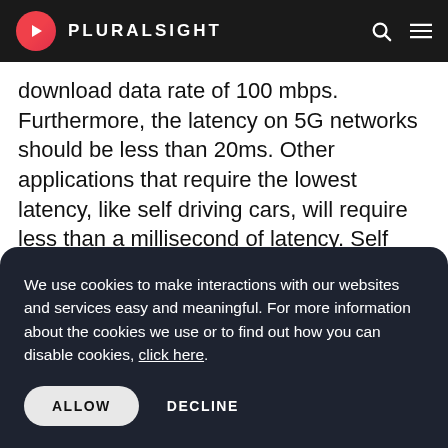PLURALSIGHT
download data rate of 100 mbps. Furthermore, the latency on 5G networks should be less than 20ms. Other applications that require the lowest latency, like self driving cars, will require less than a millisecond of latency. Self driving and other systems will need communications
We use cookies to make interactions with our websites and services easy and meaningful. For more information about the cookies we use or to find out how you can disable cookies, click here.
ALLOW   DECLINE